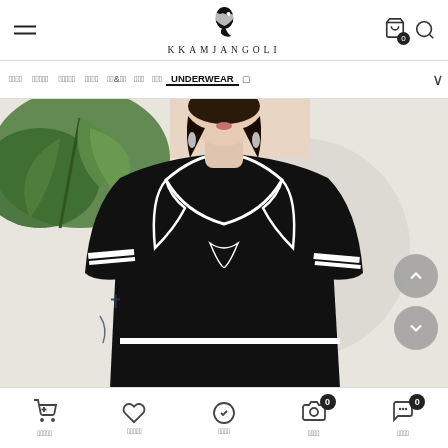[Figure (logo): KKAMJANGOLI brand logo with black swan/bird icon above the brand name in spaced serif letters]
KKAMJANGOLI navigation bar with menu items: (Korean text) and UNDERWEAR
[Figure (photo): Fashion model wearing a black sailor-collar short-sleeved top with white trim, standing against a light wall with tropical leaf in background]
Bottom navigation bar with icons: cart, wishlist, order check, camera, and chat/message